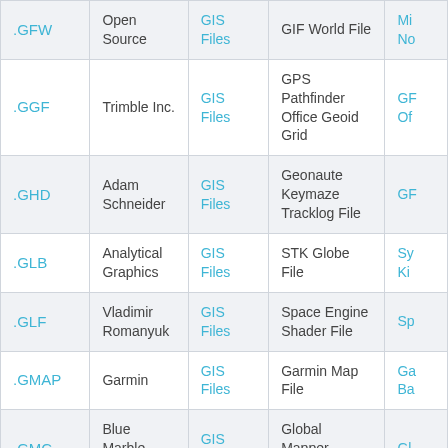| Extension | Developer | Category | Full Name | Opens With |
| --- | --- | --- | --- | --- |
| .GFW | Open Source | GIS Files | GIF World File | Mi No |
| .GGF | Trimble Inc. | GIS Files | GPS Pathfinder Office Geoid Grid | GF Of |
| .GHD | Adam Schneider | GIS Files | Geonaute Keymaze Tracklog File | GF |
| .GLB | Analytical Graphics | GIS Files | STK Globe File | Sy Ki |
| .GLF | Vladimir Romanyuk | GIS Files | Space Engine Shader File | Sp |
| .GMAP | Garmin | GIS Files | Garmin Map File | Ga Ba |
| .GMC | Blue Marble Geographics | GIS Files | Global Mapper Catalog File | Gl |